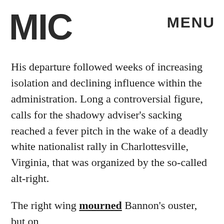MIC   MENU
His departure followed weeks of increasing isolation and declining influence within the administration. Long a controversial figure, calls for the shadowy adviser’s sacking reached a fever pitch in the wake of a deadly white nationalist rally in Charlottesville, Virginia, that was organized by the so-called alt-right.
The right wing mourned Bannon’s ouster, but on Breitbart — which he rejoined in time to lead its Friday